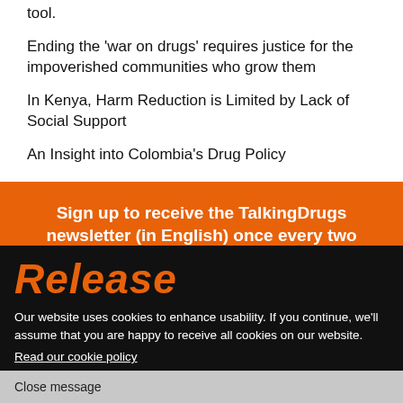tool.
Ending the 'war on drugs' requires justice for the impoverished communities who grow them
In Kenya, Harm Reduction is Limited by Lack of Social Support
An Insight into Colombia's Drug Policy
Sign up to receive the TalkingDrugs newsletter (in English) once every two months
[Figure (logo): Release logo in orange italic bold text on black background]
Our website uses cookies to enhance usability. If you continue, we'll assume that you are happy to receive all cookies on our website.
Read our cookie policy
Close message